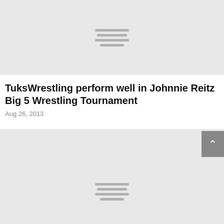[Figure (photo): Gray placeholder image with loading indicator lines at top of page]
TuksWrestling perform well in Johnnie Reitz Big 5 Wrestling Tournament
Aug 26, 2013
[Figure (photo): Gray placeholder image with loading indicator lines, partially visible at bottom of page]